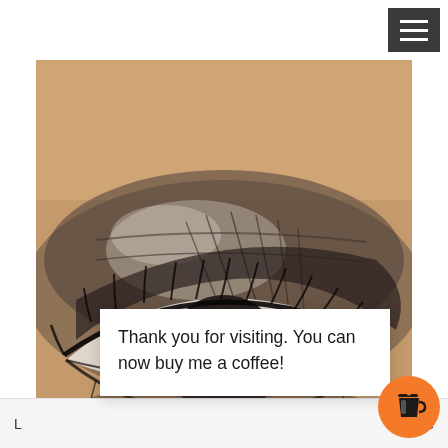[Figure (photo): Close-up photo of a human eye with dramatic smoky eye makeup — dark eyeshadow blended in grey and black tones, heavy eyeliner, long lashes. The iris is dark brown/black. Skin tone is medium-brown.]
Thank you for visiting. You can now buy me a coffee!
L… ette
[Figure (logo): Orange circular button with a white takeaway coffee cup icon (Buy Me a Coffee widget)]